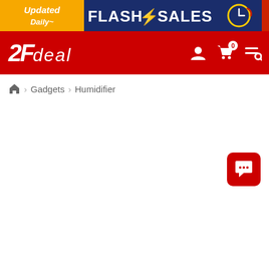[Figure (screenshot): Flash Sales promotional banner with orange left section showing 'Updated Daily~' text and dark blue right section with 'FLASH SALES' text, lightning bolt icon, clock icon, and red stripe on the right edge]
[Figure (logo): 2Fdeal e-commerce website navigation bar in red with '2Fdeal' logo in white italic, and icons for user account, shopping cart with 0 items, and search/menu on the right]
🏠 > Gadgets > Humidifier
[Figure (screenshot): Red rounded square chat button with white speech bubble icon with three dots, positioned in lower right area]